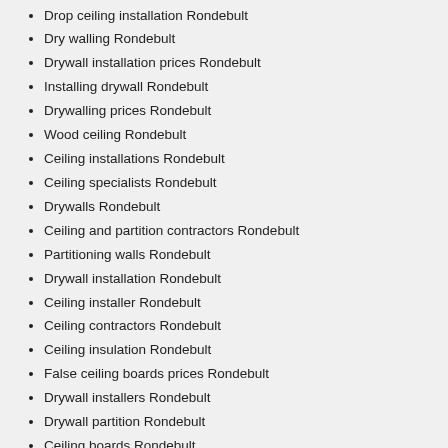Drop ceiling installation Rondebult
Dry walling Rondebult
Drywall installation prices Rondebult
Installing drywall Rondebult
Drywalling prices Rondebult
Wood ceiling Rondebult
Ceiling installations Rondebult
Ceiling specialists Rondebult
Drywalls Rondebult
Ceiling and partition contractors Rondebult
Partitioning walls Rondebult
Drywall installation Rondebult
Ceiling installer Rondebult
Ceiling contractors Rondebult
Ceiling insulation Rondebult
False ceiling boards prices Rondebult
Drywall installers Rondebult
Drywall partition Rondebult
Ceiling boards Rondebult
Ceiling companies suppliers supply Rondebult
At our company we strive to assign only expert drywall installers service providers to our clients
Call now so that we can get all of your drywall installers requirements fulfilled
We are the best Wood ceiling company in Rondebult so give us a call at: